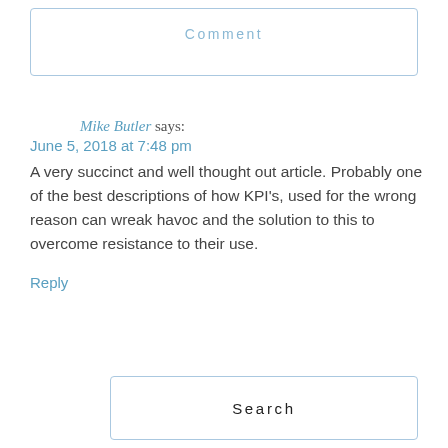Comment
Mike Butler says:
June 5, 2018 at 7:48 pm
A very succinct and well thought out article. Probably one of the best descriptions of how KPI’s, used for the wrong reason can wreak havoc and the solution to this to overcome resistance to their use.
Reply
Search